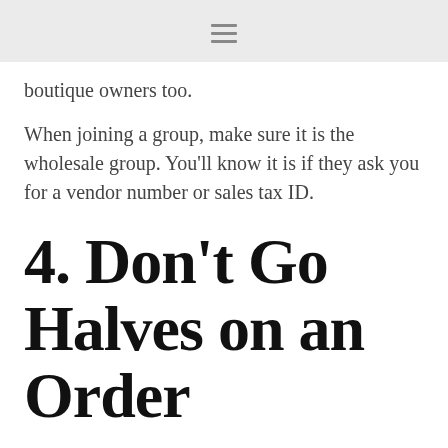≡
boutique owners too.
When joining a group, make sure it is the wholesale group. You'll know it is if they ask you for a vendor number or sales tax ID.
4. Don't Go Halves on an Order
I'm sure it is tempting. You are friends with other boutique owners. You start talking about splitting an order to save on costs, time, and inventory. This starts sounding like a partnership after a while